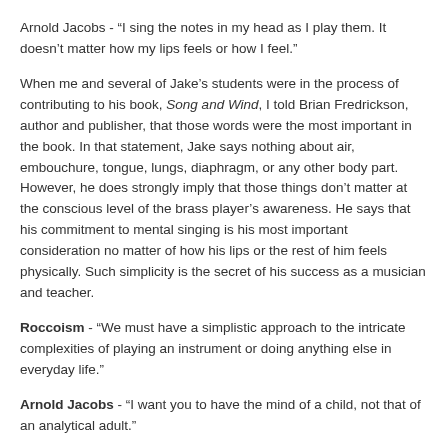Arnold Jacobs - “I sing the notes in my head as I play them. It doesn’t matter how my lips feels or how I feel.”
When me and several of Jake’s students were in the process of contributing to his book, Song and Wind, I told Brian Fredrickson, author and publisher, that those words were the most important in the book. In that statement, Jake says nothing about air, embouchure, tongue, lungs, diaphragm, or any other body part. However, he does strongly imply that those things don’t matter at the conscious level of the brass player’s awareness. He says that his commitment to mental singing is his most important consideration no matter of how his lips or the rest of him feels physically. Such simplicity is the secret of his success as a musician and teacher.
Roccoism - “We must have a simplistic approach to the intricate complexities of playing an instrument or doing anything else in everyday life.”
Arnold Jacobs - “I want you to have the mind of a child, not that of an analytical adult.”